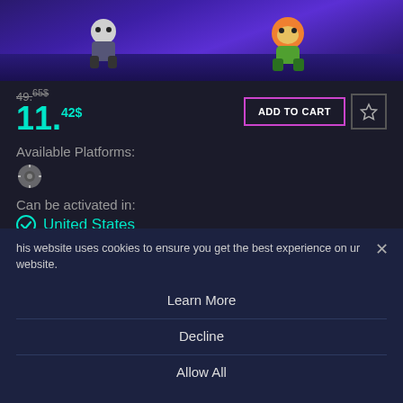[Figure (screenshot): Game banner showing cartoon characters on a purple/blue stage background]
49.65$
11.42$
ADD TO CART
Available Platforms:
[Figure (logo): Steam platform logo icon]
Can be activated in:
✓ United States
Delivery:
Instant Delivery
Game Details
Release Date:
October 05, 2021
Product type:
This website uses cookies to ensure you get the best experience on our website.
Learn More
Decline
Allow All